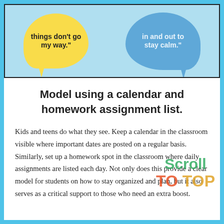[Figure (photo): Photo of two speech bubbles — a yellow one on the left with text 'things don't go my way.' and a blue one on the right with text 'in and out to stay calm.' — on a light blue background.]
Model using a calendar and homework assignment list.
Kids and teens do what they see. Keep a calendar in the classroom visible where important dates are posted on a regular basis. Similarly, set up a homework spot in the classroom where daily assignments are listed each day. Not only does this provide a clear model for students on how to stay organized and plan, but it also serves as a critical support to those who need an extra boost.